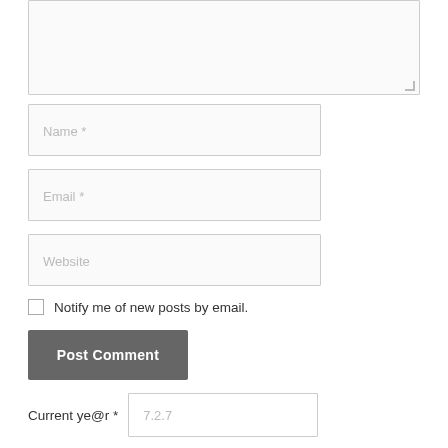[Figure (screenshot): A web comment form showing a textarea (partially visible at top), followed by Name, Email, Website input fields, a checkbox for 'Notify me of new posts by email.', a 'Post Comment' button, and a CAPTCHA field labeled 'Current ye@r *' with value '7.2.7'.]
Name *
Email *
Website
Notify me of new posts by email.
Post Comment
Current ye@r *
7.2.7